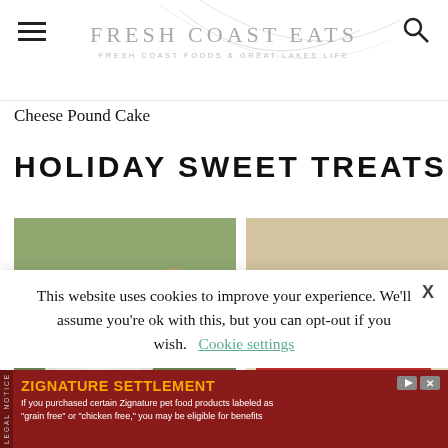FRESH COAST EATS — FRESH COAST FOODS & GREAT LAKES LIFE
Cheese Pound Cake
HOLIDAY SWEET TREATS
[Figure (photo): Food photo showing a dessert with whipped cream topping, possibly on a waffle cone, with holiday greenery in the background]
[Figure (photo): Food photo showing a cranberry crumble bar with golden crumble topping and red fruit filling]
This website uses cookies to improve your experience. We'll assume you're ok with this, but you can opt-out if you wish.
Cookie settings
X
ZIGNATURE SETTLEMENT
If you purchased certain Zignature pet food products labeled as "grain free" or "chicken free," you may be eligible for benefits